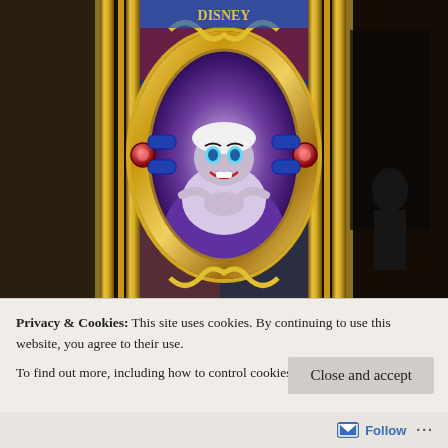[Figure (photo): Photograph of a decorative Disney villains mirror or display featuring Ursula from The Little Mermaid in the center oval, surrounded by an ornate gold frame with red jewel accents and blue enamel details. The background shows colorful Disney villain artwork.]
Privacy & Cookies: This site uses cookies. By continuing to use this website, you agree to their use.
To find out more, including how to control cookies, see here: Cookie Policy
Close and accept
Follow ···